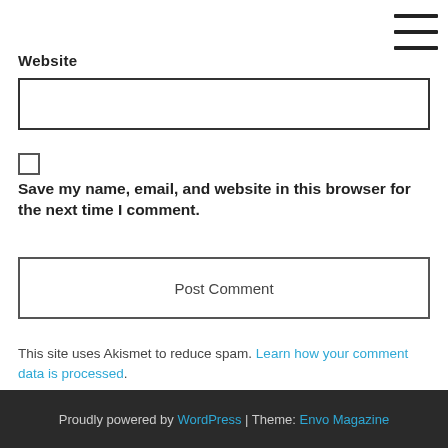[Figure (other): Hamburger menu icon (three horizontal lines) in top-right corner]
Website
[Figure (other): Empty text input box for website URL]
[Figure (other): Unchecked checkbox]
Save my name, email, and website in this browser for the next time I comment.
[Figure (other): Post Comment button]
This site uses Akismet to reduce spam. Learn how your comment data is processed.
Proudly powered by WordPress | Theme: Envo Magazine